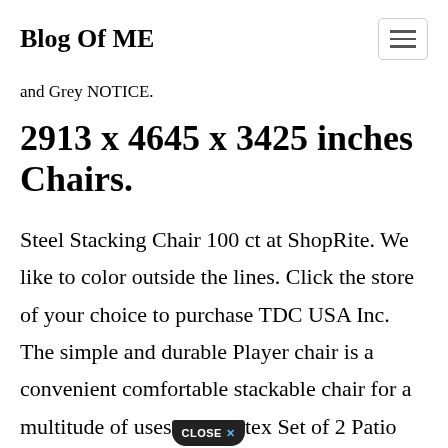Blog Of ME
and Grey NOTICE.
2913 x 4645 x 3425 inches Chairs.
Steel Stacking Chair 100 ct at ShopRite. We like to color outside the lines. Click the store of your choice to purchase TDC USA Inc. The simple and durable Player chair is a convenient comfortable stackable chair for a multitude of uses [CLOSE X] tex Set of 2 Patio